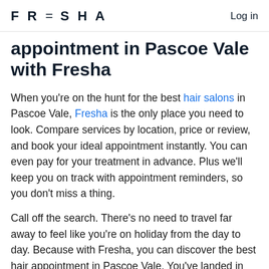FRESHA  Log in
appointment in Pascoe Vale with Fresha
When you're on the hunt for the best hair salons in Pascoe Vale, Fresha is the only place you need to look. Compare services by location, price or review, and book your ideal appointment instantly. You can even pay for your treatment in advance. Plus we'll keep you on track with appointment reminders, so you don't miss a thing.
Call off the search. There's no need to travel far away to feel like you're on holiday from the day to day. Because with Fresha, you can discover the best hair appointment in Pascoe Vale. You've landed in the right place to bag yourself the perfect hair